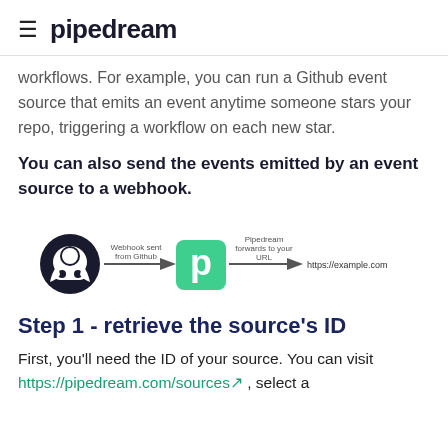≡ pipedream
workflows. For example, you can run a Github event source that emits an event anytime someone stars your repo, triggering a workflow on each new star.
You can also send the events emitted by an event source to a webhook.
[Figure (infographic): Diagram showing: Github logo → (arrow labeled 'Webhook sent from Github') → Pipedream logo (green square with P) → (arrow labeled 'Pipedream forwards to your URL') → https://example.com]
Step 1 - retrieve the source's ID
First, you'll need the ID of your source. You can visit https://pipedream.com/sources , select a